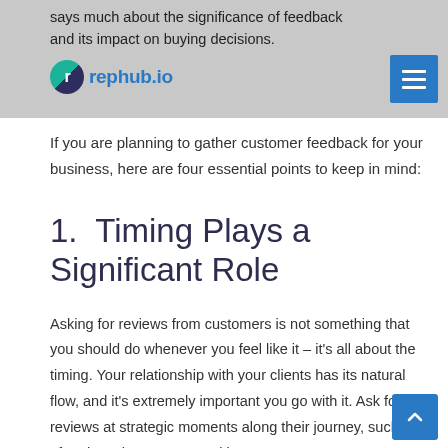says much about the significance of feedback and its impact on buying decisions.
[Figure (logo): rephub.io logo with circular icon and blue text]
If you are planning to gather customer feedback for your business, here are four essential points to keep in mind:
1.  Timing Plays a Significant Role
Asking for reviews from customers is not something that you should do whenever you feel like it – it's all about the timing. Your relationship with your clients has its natural flow, and it's extremely important you go with it. Ask for reviews at strategic moments along their journey, such as after they show success with